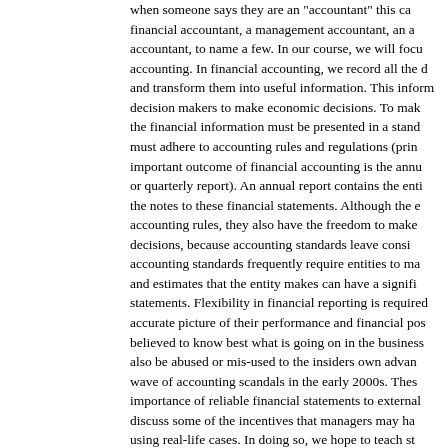when someone says they are an "accountant" this can mean a financial accountant, a management accountant, an accountant, to name a few. In our course, we will focus on accounting. In financial accounting, we record all the data and transform them into useful information. This information decision makers to make economic decisions. To make sure the financial information must be presented in a standard must adhere to accounting rules and regulations (principles important outcome of financial accounting is the annual or quarterly report). An annual report contains the entire the notes to these financial statements. Although the accounting rules, they also have the freedom to make decisions, because accounting standards leave considerable accounting standards frequently require entities to make and estimates that the entity makes can have a significant statements. Flexibility in financial reporting is required accurate picture of their performance and financial position believed to know best what is going on in the business, also be abused or mis-used to the insiders own advantage wave of accounting scandals in the early 2000s. These importance of reliable financial statements to external discuss some of the incentives that managers may have using real-life cases. In doing so, we hope to teach students the accounting choices that an entity and their managers able to form their own opinion about the financial position. Understanding the basic principles underlying 'the language to anyone who will be involved in the preparation (e.g., of start-ups, financial controllers), monitoring (e.g., supervisory auditors, stock market regulators), analysis (e.g., financial use (e.g., venture capitalists, governments, private shareholders